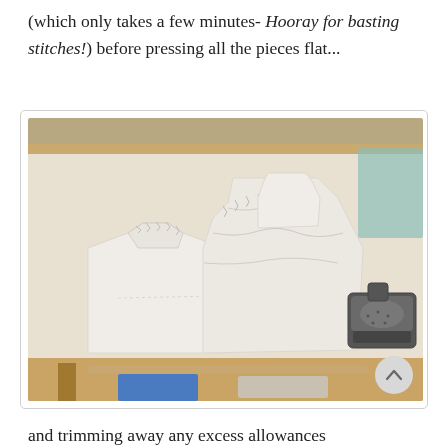(which only takes a few minutes- Hooray for basting stitches!) before pressing all the pieces flat...
[Figure (photo): A photo of white fabric garment pieces laid flat on a white ironing/cutting table, with a steam iron visible on the right side of the table.]
and trimming away any excess allowances